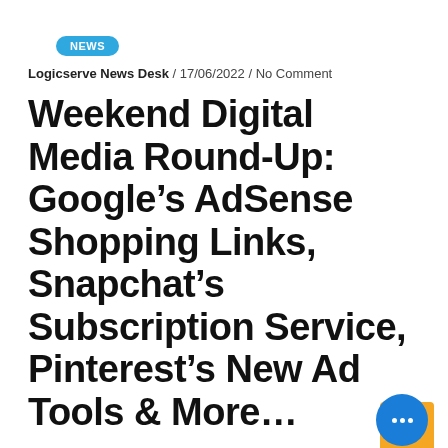NEWS
Logicserve News Desk / 17/06/2022 / No Comment
Weekend Digital Media Round-Up: Google’s AdSense Shopping Links, Snapchat’s Subscription Service, Pinterest’s New Ad Tools & More…